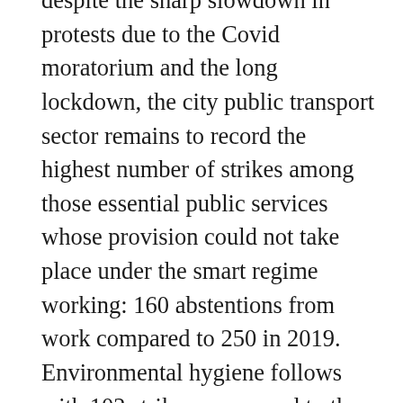despite the sharp slowdown in protests due to the Covid moratorium and the long lockdown, the city public transport sector remains to record the highest number of strikes among those essential public services whose provision could not take place under the smart regime working: 160 abstentions from work compared to 250 in 2019. Environmental hygiene follows with 102 strikes, compared to the proceeding 209 to protest against the delay in providing workers with safety devices that exposed workers to actual safety risks. Protests in the Air Transport service, one of the sectors hardest hit by the pandemic and containment measures, were also drastically reduced: 68 strikes of national importance were proclaimed in 2020 compared to 147 in 2019. Also